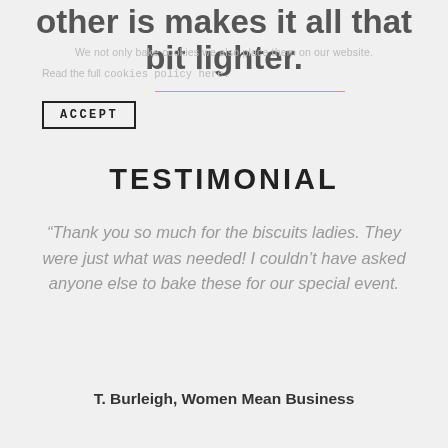other is makes it all that bit lighter.
We not only bake cookies we also place them on our website.
Read the full cookies policy here.
ACCEPT
TESTIMONIAL
“Thank you so much for the biscuits ladies. They were just what was needed! I couldn’t have asked anyone else to bake these for our special event.
T. Burleigh, Women Mean Business